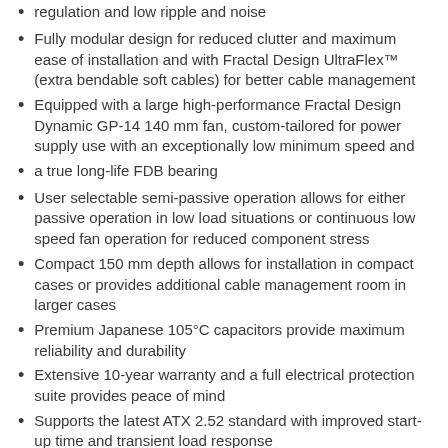regulation and low ripple and noise
Fully modular design for reduced clutter and maximum ease of installation and with Fractal Design UltraFlex™ (extra bendable soft cables) for better cable management
Equipped with a large high-performance Fractal Design Dynamic GP-14 140 mm fan, custom-tailored for power supply use with an exceptionally low minimum speed and
a true long-life FDB bearing
User selectable semi-passive operation allows for either passive operation in low load situations or continuous low speed fan operation for reduced component stress
Compact 150 mm depth allows for installation in compact cases or provides additional cable management room in larger cases
Premium Japanese 105°C capacitors provide maximum reliability and durability
Extensive 10-year warranty and a full electrical protection suite provides peace of mind
Supports the latest ATX 2.52 standard with improved start-up time and transient load response